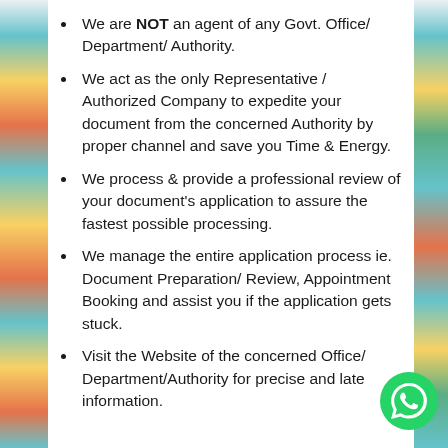We are NOT an agent of any Govt. Office/ Department/ Authority.
We act as the only Representative / Authorized Company to expedite your document from the concerned Authority by proper channel and save you Time & Energy.
We process & provide a professional review of your document's application to assure the fastest possible processing.
We manage the entire application process ie. Document Preparation/ Review, Appointment Booking and assist you if the application gets stuck.
Visit the Website of the concerned Office/ Department/Authority for precise and late information.
[Figure (illustration): WhatsApp contact button (green circle with phone handset icon) in bottom-right corner]